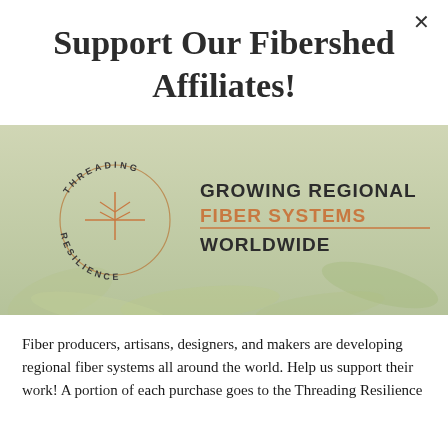Support Our Fibershed Affiliates!
[Figure (logo): Fibershed 'Threading Resilience' circular logo with a plant/seed icon, alongside text reading 'GROWING REGIONAL FIBER SYSTEMS WORLDWIDE' on a green botanical background.]
Fiber producers, artisans, designers, and makers are developing regional fiber systems all around the world. Help us support their work! A portion of each purchase goes to the Threading Resilience